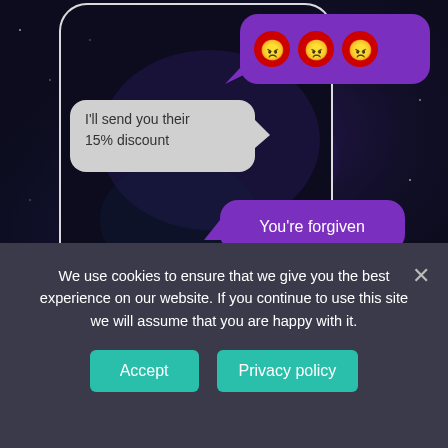[Figure (screenshot): A smartphone chat interface screenshot over a galaxy/space background showing: 1) A purple speech bubble with three angry red face emojis, 2) A gray received message bubble saying 'I'll send you their 15% discount', 3) A purple sent message bubble saying 'You're forgiven', 4) A purple ORDER NOW button at the bottom.]
We use cookies to ensure that we give you the best experience on our website. If you continue to use this site we will assume that you are happy with it.
Accept
Privacy policy